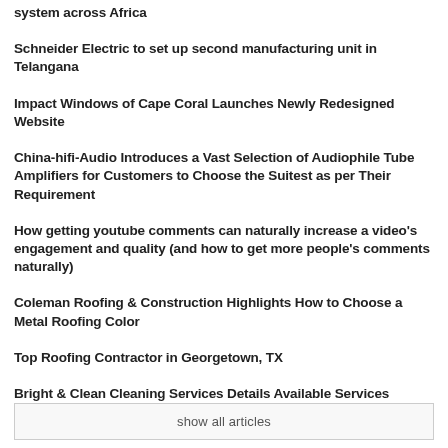system across Africa
Schneider Electric to set up second manufacturing unit in Telangana
Impact Windows of Cape Coral Launches Newly Redesigned Website
China-hifi-Audio Introduces a Vast Selection of Audiophile Tube Amplifiers for Customers to Choose the Suitest as per Their Requirement
How getting youtube comments can naturally increase a video's engagement and quality (and how to get more people's comments naturally)
Coleman Roofing & Construction Highlights How to Choose a Metal Roofing Color
Top Roofing Contractor in Georgetown, TX
Bright & Clean Cleaning Services Details Available Services
show all articles